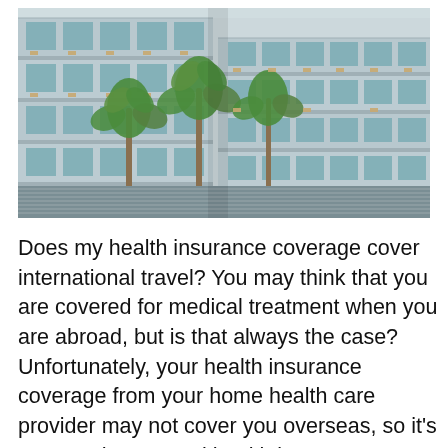[Figure (photo): Aerial/angled view of a multi-story hotel or resort building with large glass windows, balconies with chairs, and palm trees in the courtyard. White/grey concrete structure with teal-blue glass panels.]
Does my health insurance coverage cover international travel? You may think that you are covered for medical treatment when you are abroad, but is that always the case? Unfortunately, your health insurance coverage from your home health care provider may not cover you overseas, so it's smart to have travel health insurance coverage. If… Read more